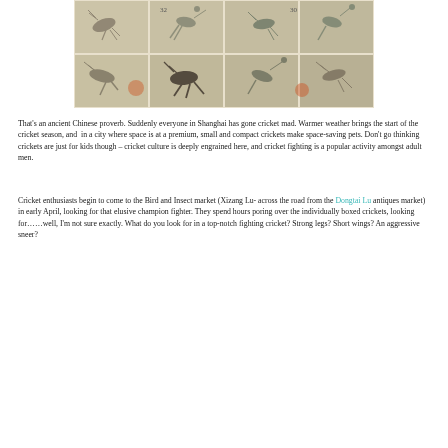[Figure (photo): Overhead view of individually boxed crickets in wooden/tiled compartments, showing drawings of crickets and insects on aged paper, with numbers visible on some boxes.]
That's an ancient Chinese proverb. Suddenly everyone in Shanghai has gone cricket mad. Warmer weather brings the start of the cricket season, and in a city where space is at a premium, small and compact crickets make space-saving pets. Don't go thinking crickets are just for kids though – cricket culture is deeply engrained here, and cricket fighting is a popular activity amongst adult men.
Cricket enthusiasts begin to come to the Bird and Insect market (Xizang Lu- across the road from the Dongtai Lu antiques market) in early April, looking for that elusive champion fighter. They spend hours poring over the individually boxed crickets, looking for……well, I'm not sure exactly. What do you look for in a top-notch fighting cricket? Strong legs? Short wings? An aggressive sneer?